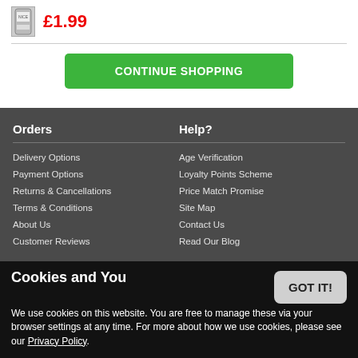[Figure (illustration): Small product image (can of food/drink)]
£1.99
CONTINUE SHOPPING
Orders
Delivery Options
Payment Options
Returns & Cancellations
Terms & Conditions
Help?
Age Verification
Loyalty Points Scheme
Price Match Promise
Site Map
About Us
Contact Us
Customer Reviews
Read Our Blog
Cookies and You
We use cookies on this website. You are free to manage these via your browser settings at any time. For more about how we use cookies, please see our Privacy Policy.
GOT IT!